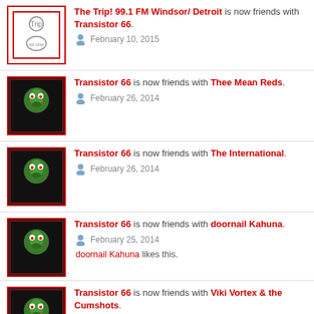The Trip! 99.1 FM Windsor/ Detroit is now friends with Transistor 66. February 10, 2015
Transistor 66 is now friends with Thee Mean Reds. February 26, 2014
Transistor 66 is now friends with The International. February 26, 2014
Transistor 66 is now friends with doornail Kahuna. February 25, 2014. doornail Kahuna likes this.
Transistor 66 is now friends with Viki Vortex & the Cumshots. February 16, 2014. doornail Kahuna likes this. Viki Vortex & the Cumshots Thanx! Just havin a wind down with wine and water! cheers... February 16, 2014
Transistor 66 is now friends with The Prosonics.